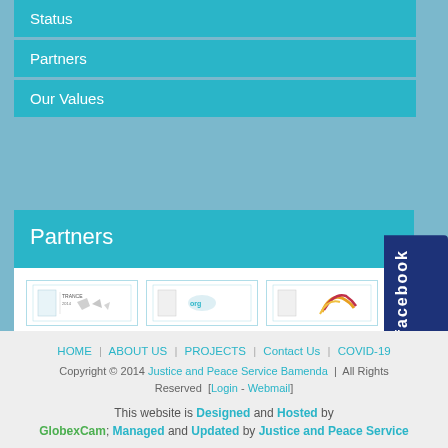Status
Partners
Our Values
Partners
[Figure (logo): Three partner organization logos shown in bordered boxes]
HOME | ABOUT US | PROJECTS | Contact Us | COVID-19
Copyright © 2014 Justice and Peace Service Bamenda | All Rights Reserved [Login - Webmail]
This website is Designed and Hosted by GlobexCam; Managed and Updated by Justice and Peace Service